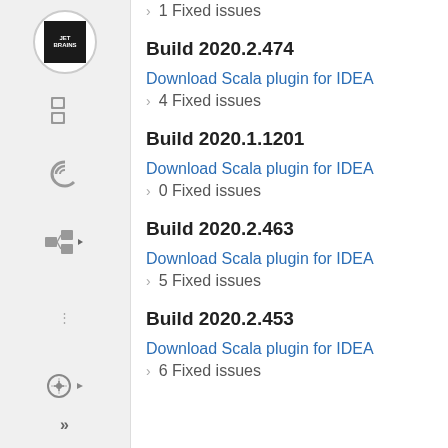› 1 Fixed issues
Build 2020.2.474
Download Scala plugin for IDEA
› 4 Fixed issues
Build 2020.1.1201
Download Scala plugin for IDEA
› 0 Fixed issues
Build 2020.2.463
Download Scala plugin for IDEA
› 5 Fixed issues
Build 2020.2.453
Download Scala plugin for IDEA
› 6 Fixed issues